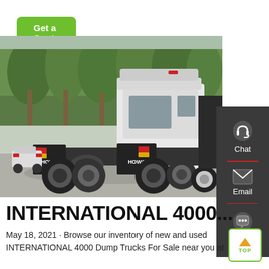Get a Quote
[Figure (photo): Rear view of a white HOWO semi-truck/tractor unit parked in a yard with trees in background. The rear of the truck shows HOWO branding on the mudguards.]
INTERNATIONAL 4000...
May 18, 2021 · Browse our inventory of new and used INTERNATIONAL 4000 Dump Trucks For Sale near you at